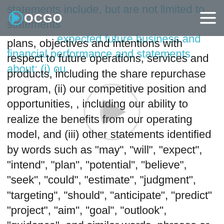DOCGO
statements include, but are not limited to, statements of expected future business and financial performance and statements about: (i) our plans, objectives and intentions with respect to future operations, services and products, including the share repurchase program, (ii) our competitive position and opportunities, , including our ability to realize the benefits from our operating model, and (iii) other statements identified by words such as "may", "will", "expect", "intend", "plan", "potential", "believe", "seek", "could", "estimate", "judgment", "targeting", "should", "anticipate", "predict" "project", "aim", "goal", "outlook", "guidance", and similar words, phrases or expressions. These forward-looking statements are based on management's current expectations and beliefs, as well as assumptions made by, and information currently available to, management, and current market trends and conditions. Forward-looking